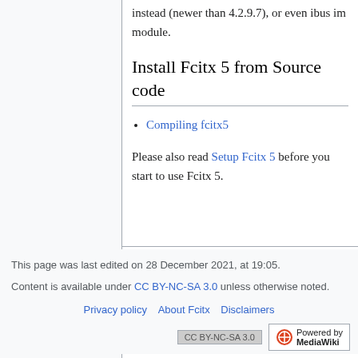instead (newer than 4.2.9.7), or even ibus im module.
Install Fcitx 5 from Source code
Compiling fcitx5
Please also read Setup Fcitx 5 before you start to use Fcitx 5.
This page was last edited on 28 December 2021, at 19:05.
Content is available under CC BY-NC-SA 3.0 unless otherwise noted.
Privacy policy  About Fcitx  Disclaimers